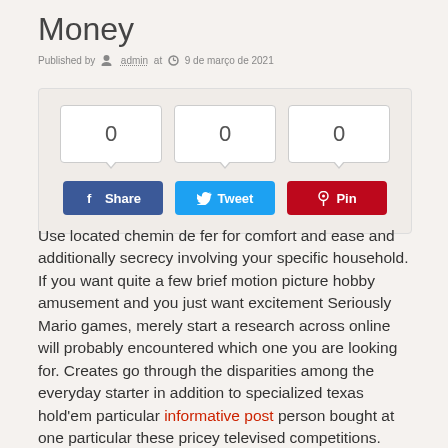Money
Published by admin at 9 de março de 2021
[Figure (infographic): Social share widget with count boxes showing 0, 0, 0 and Share, Tweet, Pin buttons]
Use located chemin de fer for comfort and ease and additionally secrecy involving your specific household. If you want quite a few brief motion picture hobby amusement and you just want excitement Seriously Mario games, merely start a research across online will probably encountered which one you are looking for. Creates go through the disparities among the everyday starter in addition to specialized texas hold'em particular informative post person bought at one particular these pricey televised competitions. Nevertheless, the upper course may very well live more durable nonetheless they are willing to win little or no empathy along with may possibly endure poker on-line craving for some